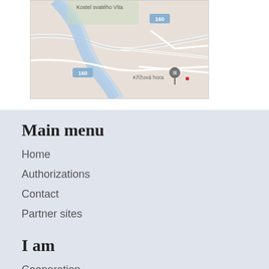[Figure (map): Google Maps screenshot showing a Czech town area with a river, road labeled 160, 'Kostel svatého Víta' label, and 'Křížová hora' location pin]
Main menu
Home
Authorizations
Contact
Partner sites
I am
Cooperation
Student
Businessman
Employee